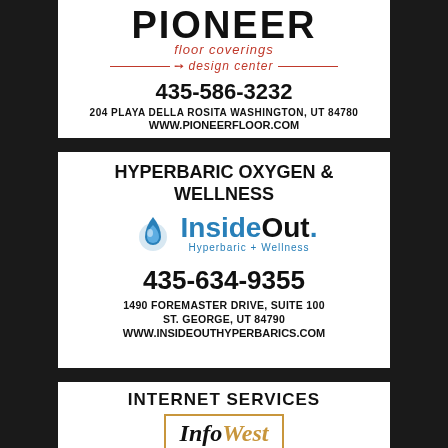[Figure (logo): Pioneer Floor Coverings Design Center advertisement with logo, phone 435-586-3232, address 204 Playa Della Rosita Washington, UT 84780, www.pioneerfloor.com]
[Figure (logo): InsideOut Hyperbaric + Wellness advertisement. Header: HYPERBARIC OXYGEN & WELLNESS. Phone: 435-634-9355. Address: 1490 Foremaster Drive, Suite 100, St. George, UT 84790. www.insideouthyperbarics.com]
[Figure (logo): InfoWest Internet Services advertisement. Header: INTERNET SERVICES. Logo: InfoWest The Internet People. HOME & BUSINESS 435-674-0165]